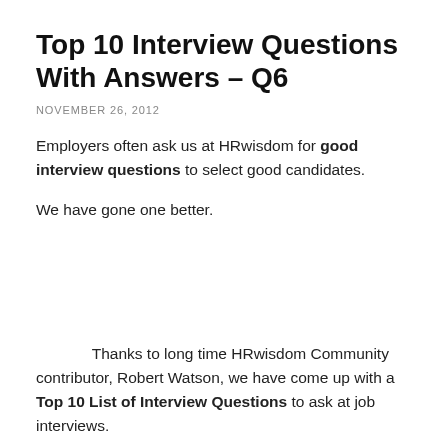Top 10 Interview Questions With Answers – Q6
NOVEMBER 26, 2012
Employers often ask us at HRwisdom for good interview questions to select good candidates.
We have gone one better.
Thanks to long time HRwisdom Community contributor, Robert Watson, we have come up with a Top 10 List of Interview Questions to ask at job interviews.